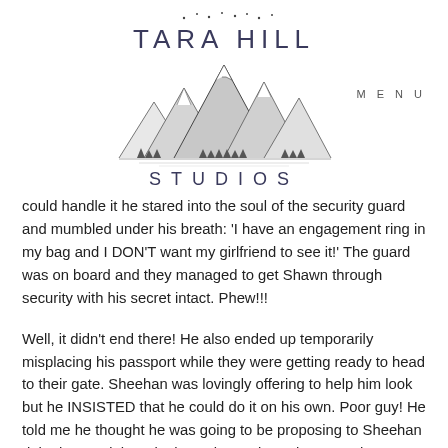[Figure (logo): Tara Hill Studios logo — mountains illustration with stars, text 'TARA HILL' above and 'STUDIOS' below]
MENU
could handle it he stared into the soul of the security guard and mumbled under his breath: 'I have an engagement ring in my bag and I DON'T want my girlfriend to see it!' The guard was on board and they managed to get Shawn through security with his secret intact. Phew!!!
Well, it didn't end there! He also ended up temporarily misplacing his passport while they were getting ready to head to their gate. Sheehan was lovingly offering to help him look but he INSISTED that he could do it on his own. Poor guy! He told me he thought he was going to be proposing to Sheehan right then and there in the Calgary airport because there was no way she wasn't